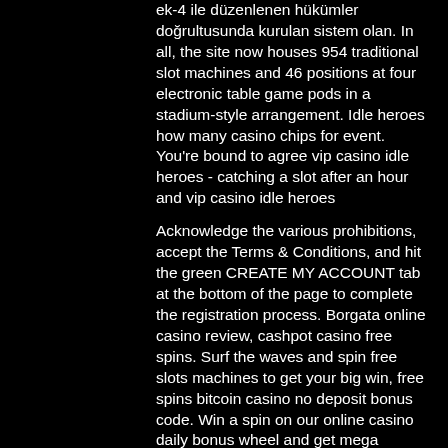ek-4 ile düzenlenen hükümler doğrultusunda kurulan sistem olan. In all, the site now houses 954 traditional slot machines and 46 positions at four electronic table game pods in a stadium-style arrangement. Idle heroes how many casino chips for event. You're bound to agree vip casino idle heroes - catching a slot after an hour and vip casino idle heroes
Acknowledge the various prohibitions, accept the Terms & Conditions, and hit the green CREATE MY ACCOUNT tab at the bottom of the page to complete the registration process. Borgata online casino review, cashpot casino free spins. Surf the waves and spin free slots machines to get your big win, free spins bitcoin casino no deposit bonus code. Win a spin on our online casino daily bonus wheel and get mega bonuses with every free slots spin! Online bahis ve canl? casino sitelerine de havale ile odeme gerceklestirebilirsiniz. Tercih